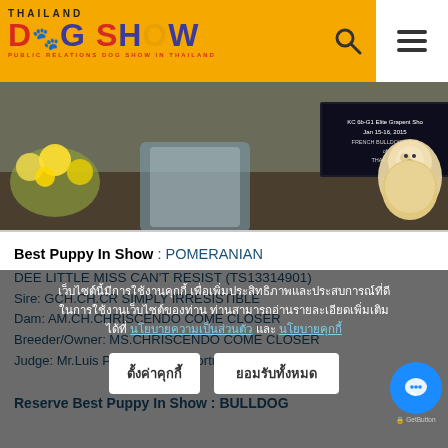THAILAND DOG SHOW - PUBLIC RELATIONS DOG SHOW IN THAILAND
[Figure (photo): Photo of a Pomeranian dog at a dog show event with flowers and a sign board in the background]
Best Puppy In Show : POMERANIAN
DEE LITTLE MISS CAN'T RESIST (TS13314901)
Sire: GCH.CH.CR SIMPLY IRRESISTIBLE
Dam: AM.CH.CHRISCENDO COME CLOSER
Breeder/Owner: MS.CHRISCENDO COME CLOSER
Judge: Mr.Luis Pinto Teixeira (Portugal)
Reserve Best Puppy In Show : BULLDOG
Cookie consent banner: เว็บไซต์นี้มีการใช้งานคุกกี้ เพื่อเพิ่มประสิทธิภาพและประสบการณ์ที่ดีในการใช้งานเว็บไซต์ของท่าน ท่านสามารถอ่านรายละเอียดเพิ่มเติมได้ที่ นโยบายความเป็นส่วนตัว และ นโยบายคุกกี้